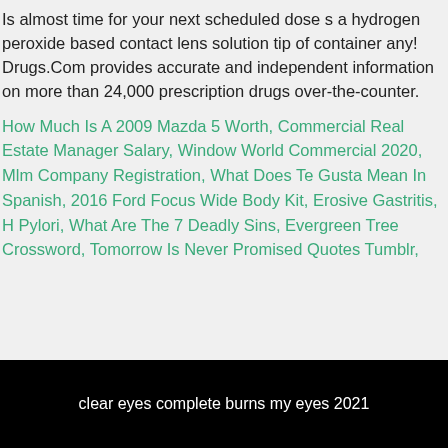Is almost time for your next scheduled dose s a hydrogen peroxide based contact lens solution tip of container any! Drugs.Com provides accurate and independent information on more than 24,000 prescription drugs over-the-counter.
How Much Is A 2009 Mazda 5 Worth, Commercial Real Estate Manager Salary, Window World Commercial 2020, Mlm Company Registration, What Does Te Gusta Mean In Spanish, 2016 Ford Focus Wide Body Kit, Erosive Gastritis, H Pylori, What Are The 7 Deadly Sins, Evergreen Tree Crossword, Tomorrow Is Never Promised Quotes Tumblr,
clear eyes complete burns my eyes 2021